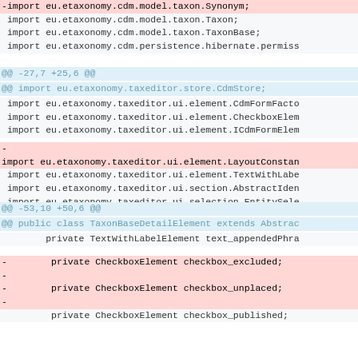-import eu.etaxonomy.cdm.model.taxon.Synonym;
 import eu.etaxonomy.cdm.model.taxon.Taxon;
 import eu.etaxonomy.cdm.model.taxon.TaxonBase;
 import eu.etaxonomy.cdm.persistence.hibernate.permiss
@@ -27,7 +25,6 @@
@@ import eu.etaxonomy.taxeditor.store.CdmStore;
import eu.etaxonomy.taxeditor.ui.element.CdmFormFacto
 import eu.etaxonomy.taxeditor.ui.element.CheckboxElem
 import eu.etaxonomy.taxeditor.ui.element.ICdmFormElem
-
import eu.etaxonomy.taxeditor.ui.element.LayoutConstan
 import eu.etaxonomy.taxeditor.ui.element.TextWithLabe
 import eu.etaxonomy.taxeditor.ui.section.AbstractIden
 import eu.etaxonomy.taxeditor.ui.selection.EntitySele
@@ -53,10 +50,6 @@
@@ public class TaxonBaseDetailElement extends Abstrac
private TextWithLabelElement text_appendedPhra
-        private CheckboxElement checkbox_excluded;
-
-        private CheckboxElement checkbox_unplaced;
-
         private CheckboxElement checkbox_published;